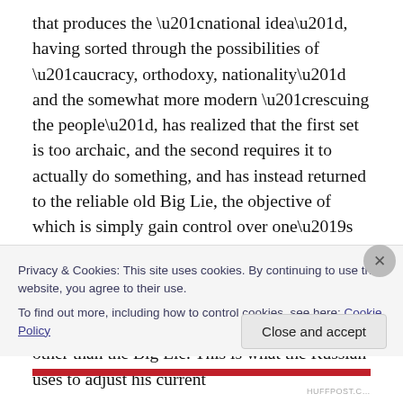that produces the “national idea”, having sorted through the possibilities of “aucracy, orthodoxy, nationality” and the somewhat more modern “rescuing the people”, has realized that the first set is too archaic, and the second requires it to actually do something, and has instead returned to the reliable old Big Lie, the objective of which is simply gain control over one’s future. Hence, if one understands the “National Idea” to be something that permeates the whole society, unifies it, and defines its motives of conduct, then this is none other than the Big Lie. This is what the Russian uses to adjust his current
Privacy & Cookies: This site uses cookies. By continuing to use this website, you agree to their use.
To find out more, including how to control cookies, see here: Cookie Policy
Close and accept